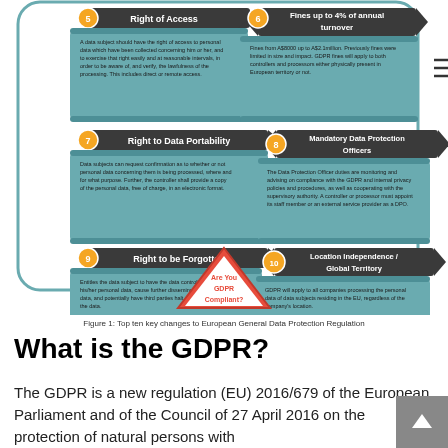[Figure (infographic): Infographic showing 6 of the top 10 key changes to European General Data Protection Regulation. Items shown: 5-Right of Access, 6-Fines up to 4% of annual turnover, 7-Right to Data Portability, 8-Mandatory Data Protection Officers, 9-Right to be Forgotten, 10-Location Independence/Global Territory. Each item has a numbered yellow circle badge, dark banner heading, and teal scroll-style text box. A red triangle warning sign at the bottom reads 'Are You GDPR Compliant?']
Figure 1: Top ten key changes to European General Data Protection Regulation
What is the GDPR?
The GDPR is a new regulation (EU) 2016/679 of the European Parliament and of the Council of 27 April 2016 on the protection of natural persons with